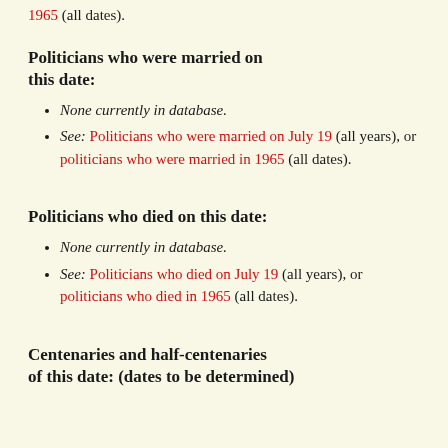1965 (all dates).
Politicians who were married on this date:
None currently in database.
See: Politicians who were married on July 19 (all years), or politicians who were married in 1965 (all dates).
Politicians who died on this date:
None currently in database.
See: Politicians who died on July 19 (all years), or politicians who died in 1965 (all dates).
Centenaries and half-centenaries of this date: (dates to be determined)